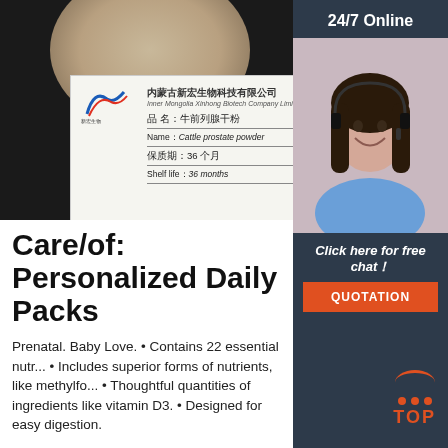[Figure (photo): Product photo showing a dish of cattle prostate powder with a label card from Inner Mongolia Xinhong Biotech Company Limited. Label shows: Name: Cattle prostate powder, Shelf life: 36 months.]
Care/of: Personalized Daily Packs
Prenatal. Baby Love. • Contains 22 essential nutrients. • Includes superior forms of nutrients, like methylfo... • Thoughtful quantities of ingredients like vitamin D3. • Designed for easy digestion.
Get Price
[Figure (photo): Sidebar with 24/7 Online customer service representative photo, Click here for free chat!, QUOTATION button, and TOP icon.]